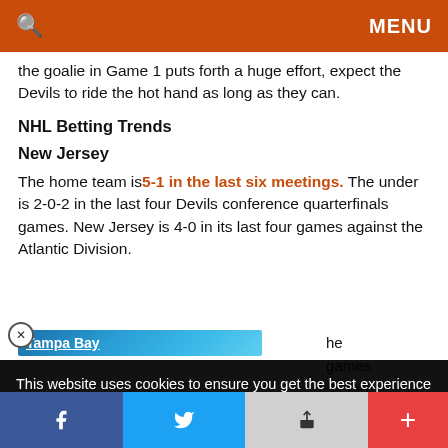🔍   MENU
the goalie in Game 1 puts forth a huge effort, expect the Devils to ride the hot hand as long as they can.
NHL Betting Trends
New Jersey
The home team is 5-1 in the last six meetings. The under is 2-0-2 in the last four Devils conference quarterfinals games. New Jersey is 4-0 in its last four games against the Atlantic Division.
Tampa Bay
the games -0-1 in
This website uses cookies to ensure you get the best experience on our website.
Got it!